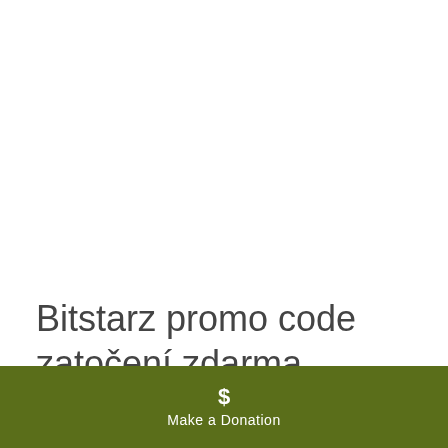Bitstarz promo code zatočení zdarma
According to the company's press release
[Figure (other): Olive/dark green donation bar with a dollar sign icon and 'Make a Donation' label in white text]